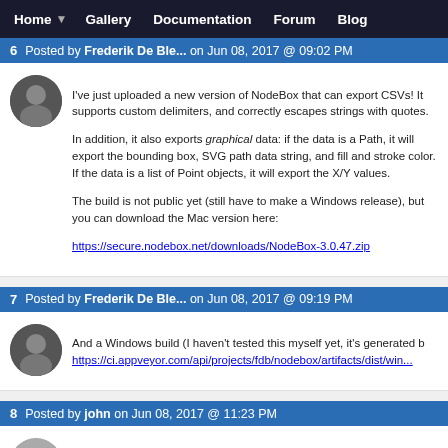Home  Gallery  Documentation  Forum  Blog
6  Posted by Frederik De Ble... on Jun 08, 2017 @ 09:02 PM
I've just uploaded a new version of NodeBox that can export CSVs! It supports custom delimiters, and correctly escapes strings with quotes.

In addition, it also exports graphical data: if the data is a Path, it will export the bounding box, SVG path data string, and fill and stroke color. If the data is a list of Point objects, it will export the X/Y values.

The build is not public yet (still have to make a Windows release), but you can download the Mac version here:

https://secure.nodebox.net/downloads/NodeBox-3.0.47.zip
7  Posted by Frederik De Ble... on Jun 08, 2017 @ 09:19 PM
And a Windows build (I haven't tested this myself yet, it's generated by
https://ci.appveyor.com/api/projects/fdb/nodebox/artifacts/dist/win...
8  Posted by john on Jun 08, 2017 @ 11:23 PM